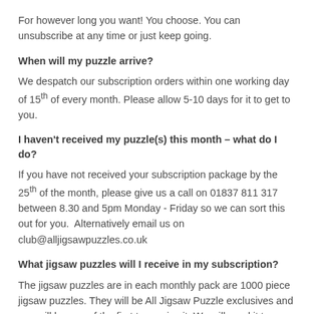For however long you want! You choose. You can unsubscribe at any time or just keep going.
When will my puzzle arrive?
We despatch our subscription orders within one working day of 15th of every month. Please allow 5-10 days for it to get to you.
I haven't received my puzzle(s) this month – what do I do?
If you have not received your subscription package by the 25th of the month, please give us a call on 01837 811 317 between 8.30 and 5pm Monday - Friday so we can sort this out for you.  Alternatively email us on club@alljigsawpuzzles.co.uk
What jigsaw puzzles will I receive in my subscription?
The jigsaw puzzles are in each monthly pack are 1000 piece jigsaw puzzles. They will be All Jigsaw Puzzle exclusives and you will be one of the first to receive it. We will send it to our subscribers before putting